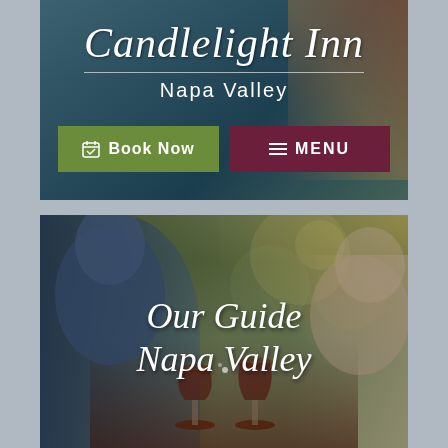[Figure (screenshot): Top banner of Candlelight Inn Napa Valley website with scenic lake/balloon background, inn title in cursive, Book Now and MENU buttons]
Candlelight Inn
Napa Valley
Book Now
MENU
[Figure (photo): Two people toasting with red wine glasses outdoors with green bokeh background, with overlaid text 'Our Guide Napa Valley']
Our Guide Napa Valley